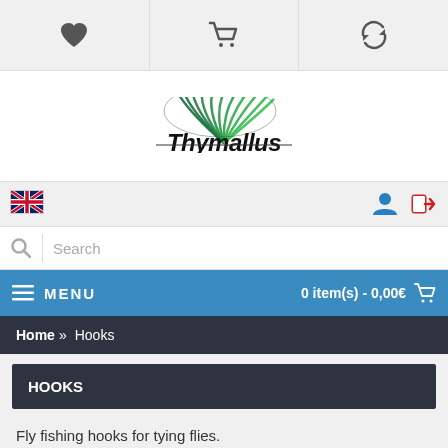[Figure (screenshot): Top navigation bar with heart/favorites icon, shopping cart icon, and refresh/sync icon on gray background]
[Figure (logo): Thymallus logo with green fish scale/feather illustration above the black italic text 'Thymallus']
[Figure (screenshot): Navigation bar with UK flag icon on left, blue user/account icon and red login arrow icon on right]
[Figure (screenshot): Search bar with magnifying glass icon and placeholder text 'Search']
MENU   0 item(s) - 0,00€
Home » Hooks
HOOKS
Fly fishing hooks for tying flies.